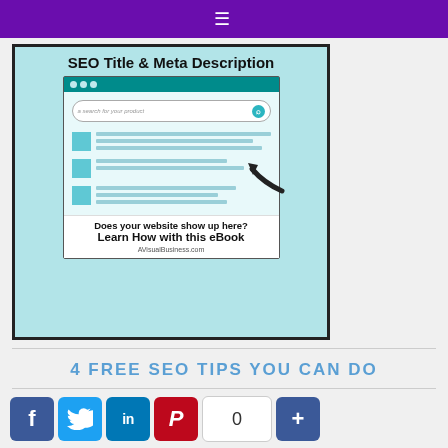[Figure (infographic): SEO Title & Meta Description eBook promotional image showing a browser window mockup with search results and the text 'Does your website show up here? Learn How with this eBook' from AVisualBusiness.com]
4 FREE SEO TIPS YOU CAN DO
[Figure (infographic): Social sharing buttons row: Facebook, Twitter, LinkedIn, Pinterest, share count (0), and a plus/share button]